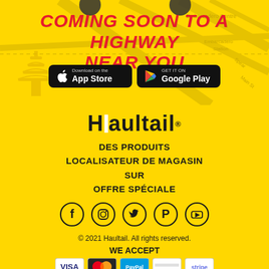[Figure (illustration): Map background with street names including China Town, Embarcadero Centre, Embarcadero Station, Spear St, Main St, with a decorative Chinese pagoda silhouette on the left and product icons at the top]
COMING SOON TO A HIGHWAY NEAR YOU
[Figure (screenshot): App store download buttons: 'Download on the App Store' (Apple) and 'GET IT ON Google Play' (Google), both black rounded rectangles]
[Figure (logo): Haultail logo in bold black text on yellow background, with a white vertical bar inside the letter H]
DES PRODUITS
LOCALISATEUR DE MAGASIN
SUR
OFFRE SPÉCIALE
[Figure (infographic): Five social media icons in black circles: Facebook (f), Instagram (camera), Twitter (bird), Pinterest (P), YouTube (play button)]
© 2021 Haultail. All rights reserved.
WE ACCEPT
[Figure (infographic): Payment method icons including Visa, Mastercard, and other payment cards at bottom of page]